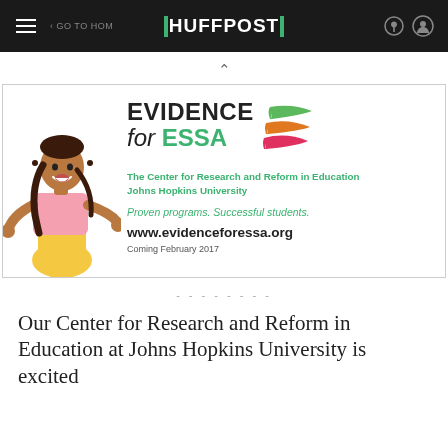HUFFPOST
[Figure (illustration): Evidence for ESSA advertisement banner. Shows a cartoon girl with braids wearing a pink shirt and yellow skirt on the left. Right side has text: EVIDENCE for ESSA, The Center for Research and Reform in Education Johns Hopkins University, Proven programs. Successful students., www.evidenceforessa.org, Coming February 2017. Colorful swoosh logo in green, orange, red/pink beside the title.]
--------
Our Center for Research and Reform in Education at Johns Hopkins University is excited